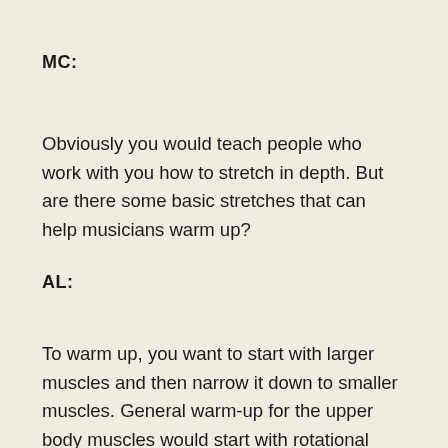MC:
Obviously you would teach people who work with you how to stretch in depth. But are there some basic stretches that can help musicians warm up?
AL:
To warm up, you want to start with larger muscles and then narrow it down to smaller muscles. General warm-up for the upper body muscles would start with rotational motion of the shoulders, then rotational motion in all directions of the elbows and